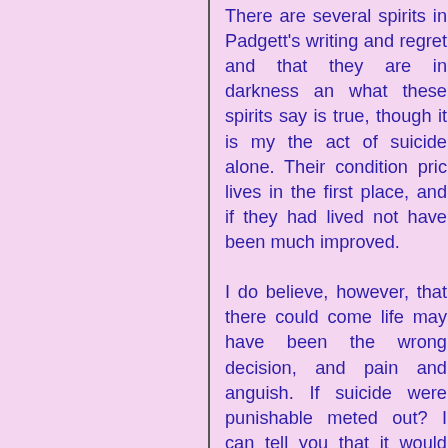There are several spirits in Padgett's writing and regret and that they are in darkness and what these spirits say is true, though it is my the act of suicide alone. Their condition prior lives in the first place, and if they had lived not have been much improved. I do believe, however, that there could come life may have been the wrong decision, and pain and anguish. If suicide were punishable meted out? I can tell you that it would not be spirit's fate, nor by God who does not pronounce system of laws that determines a spirit's location is to suffer strangely, no other source is needed the spirit itself. A spirit is more transparent than a mortal opportunity to know oneself better, and further understand that this transparency can lead the feelings of remorse and regret, which lifetime. Granted, this can be painful when viewed and removed, and this punishment is the workings of the conscience. I believe that